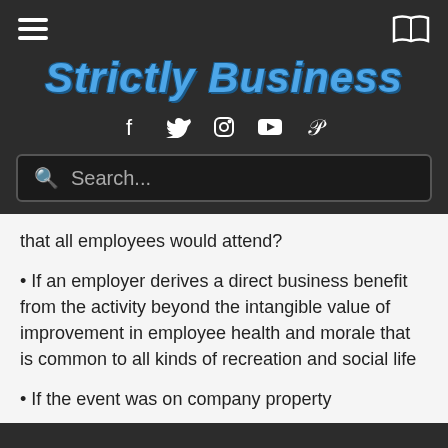Strictly Business
that all employees would attend?
• If an employer derives a direct business benefit from the activity beyond the intangible value of improvement in employee health and morale that is common to all kinds of recreation and social life
• If the event was on company property